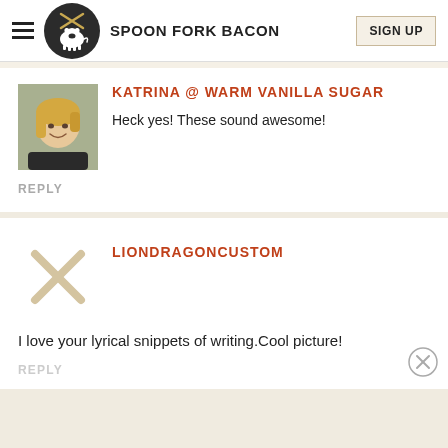SPOON FORK BACON | SIGN UP
KATRINA @ WARM VANILLA SUGAR
Heck yes! These sound awesome!
REPLY
LIONDRAGONCUSTOM
I love your lyrical snippets of writing.Cool picture!
REPLY